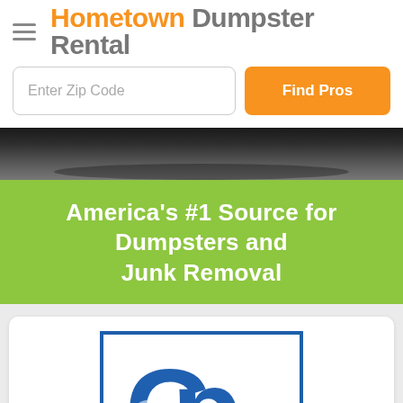Hometown Dumpster Rental
Enter Zip Code
Find Pros
[Figure (photo): Hero image showing a dumpster or truck in a dark parking area]
America's #1 Source for Dumpsters and Junk Removal
[Figure (logo): GP logo in blue with white letter G overlapping P, inside a blue border rectangle]